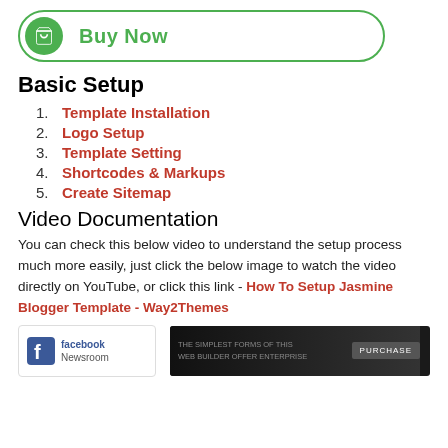[Figure (other): Green 'Buy Now' button with shopping cart icon on a white pill-shaped border]
Basic Setup
1. Template Installation
2. Logo Setup
3. Template Setting
4. Shortcodes & Markups
5. Create Sitemap
Video Documentation
You can check this below video to understand the setup process much more easily, just click the below image to watch the video directly on YouTube, or click this link - How To Setup Jasmine Blogger Template - Way2Themes
[Figure (logo): Facebook Newsroom logo badge and a dark advertisement banner with a Purchase button]